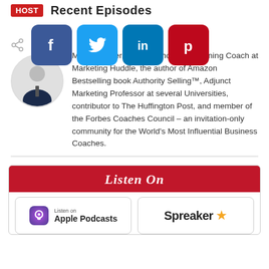host | Recent Episodes
[Figure (screenshot): Social media share icons: Facebook (blue), Twitter (light blue), LinkedIn (dark blue), Pinterest (red), plus a share icon]
[Figure (photo): Circular avatar photo of Mike Saunders in a suit]
Mike Saunders is the Authority Positioning Coach at Marketing Huddle, the author of Amazon Bestselling book Authority Selling™, Adjunct Marketing Professor at several Universities, contributor to The Huffington Post, and member of the Forbes Coaches Council – an invitation-only community for the World's Most Influential Business Coaches.
Listen On
[Figure (logo): Apple Podcasts badge - Listen on Apple Podcasts]
[Figure (logo): Spreaker logo with star]